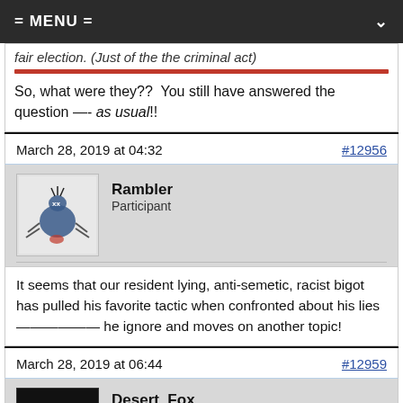= MENU =
fair election. (Just of the the criminal act)
So, what were they??  You still have answered the question —- as usual!!
March 28, 2019 at 04:32
#12956
Rambler
Participant
It seems that our resident lying, anti-semetic, racist bigot has pulled his favorite tactic when confronted about his lies ——————— he ignore and moves on another topic!
March 28, 2019 at 06:44
#12959
Desert_Fox
Participant